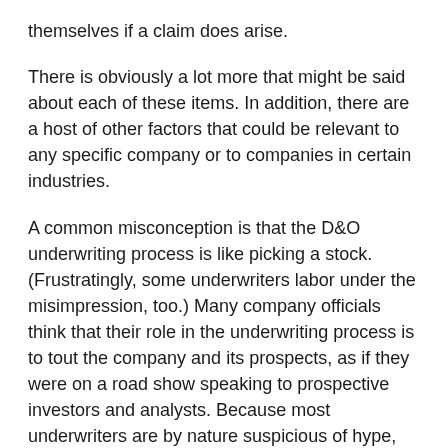themselves if a claim does arise.
There is obviously a lot more that might be said about each of these items. In addition, there are a host of other factors that could be relevant to any specific company or to companies in certain industries.
A common misconception is that the D&O underwriting process is like picking a stock. (Frustratingly, some underwriters labor under the misimpression, too.) Many company officials think that their role in the underwriting process is to tout the company and its prospects, as if they were on a road show speaking to prospective investors and analysts. Because most underwriters are by nature suspicious of hype, an underwriting meeting characterized by a high level of salesmanship can be counterproductive.